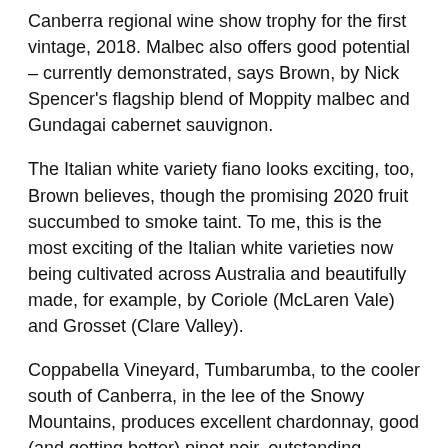Canberra regional wine show trophy for the first vintage, 2018. Malbec also offers good potential – currently demonstrated, says Brown, by Nick Spencer's flagship blend of Moppity malbec and Gundagai cabernet sauvignon.
The Italian white variety fiano looks exciting, too, Brown believes, though the promising 2020 fruit succumbed to smoke taint. To me, this is the most exciting of the Italian white varieties now being cultivated across Australia and beautifully made, for example, by Coriole (McLaren Vale) and Grosset (Clare Valley).
Coppabella Vineyard, Tumbarumba, to the cooler south of Canberra, in the lee of the Snowy Mountains, produces excellent chardonnay, good (and getting better) pinot noir, outstanding bubblies, and truly varietal sauvignon blanc. Brown is adding the Austrian white variety, gruner veltliner, plus pinot gris and Beaujolais' red grape, gamay – varieties